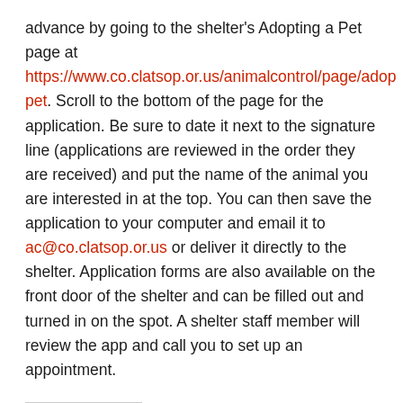advance by going to the shelter's Adopting a Pet page at https://www.co.clatsop.or.us/animalcontrol/page/adopt-pet. Scroll to the bottom of the page for the application. Be sure to date it next to the signature line (applications are reviewed in the order they are received) and put the name of the animal you are interested in at the top. You can then save the application to your computer and email it to ac@co.clatsop.or.us or deliver it directly to the shelter. Application forms are also available on the front door of the shelter and can be filled out and turned in on the spot. A shelter staff member will review the app and call you to set up an appointment.
Share this: